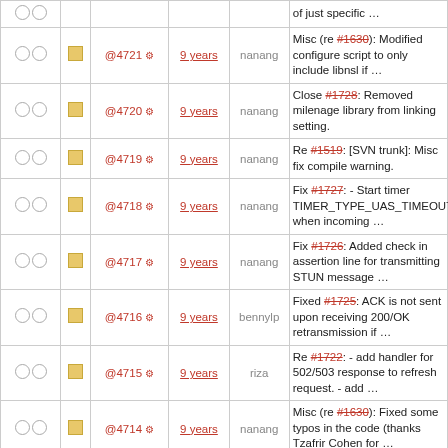|  |  |  | Rev | Age | Author | Message |
| --- | --- | --- | --- | --- | --- | --- |
|  |  |  | @4721 | 9 years | nanang | Misc (re #1630): Modified configure script to only include libnsl if … |
|  |  |  | @4720 | 9 years | nanang | Close #1728: Removed milenage library from linking setting. |
|  |  |  | @4719 | 9 years | nanang | Re #1519: [SVN trunk]: Misc fix compile warning. |
|  |  |  | @4718 | 9 years | nanang | Fix #1727: - Start timer TIMER_TYPE_UAS_TIMEOUT when incoming … |
|  |  |  | @4717 | 9 years | nanang | Fix #1726: Added check in assertion line for transmitting STUN message … |
|  |  |  | @4716 | 9 years | bennylp | Fixed #1725: ACK is not sent upon receiving 200/OK retransmission if … |
|  |  |  | @4715 | 9 years | riza | Re #1722: - add handler for 502/503 response to refresh request. - add … |
|  |  |  | @4714 | 9 years | nanang | Misc (re #1630): Fixed some typos in the code (thanks Tzafrir Cohen for … |
|  |  |  | @4713 | 9 years | nanang | Misc (re #1630): Fixed symbols that should not be exported (thanks Tzafrir … |
|  |  |  | @4712 | 9 years | nanang | Misc (re #1630): Fixed GCC build warnings (thanks Tzafrir Cohen for the … |
|  |  |  | @4711 | 9 years | ming | Re #1723: Modified build system to link with C++ library only for … |